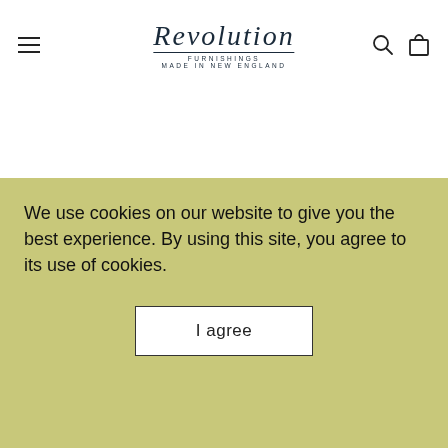Revolution Furnishings — Made in New England (navigation bar with logo, hamburger menu, search and cart icons)
Series A 54" Vanity
$2,233.00 USD $4,294.00 USD
Series A 54" Vanity
We use cookies on our website to give you the best experience. By using this site, you agree to its use of cookies.
I agree